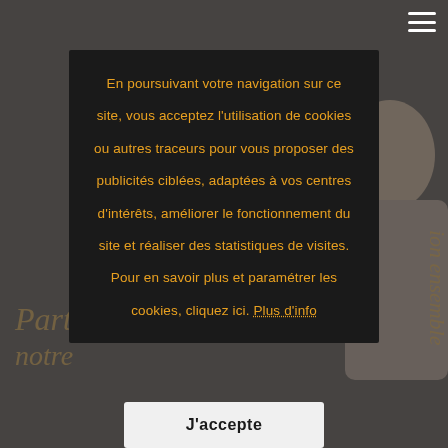[Figure (screenshot): Dark background photo of a person with gold script text reading 'Partageons notre passion ensemble' partially visible, overlaid with a gray dimming layer and a hamburger menu icon in the top right corner.]
En poursuivant votre navigation sur ce site, vous acceptez l'utilisation de cookies ou autres traceurs pour vous proposer des publicités ciblées, adaptées à vos centres d'intérêts, améliorer le fonctionnement du site et réaliser des statistiques de visites. Pour en savoir plus et paramétrer les cookies, cliquez ici. Plus d'info
J'accepte